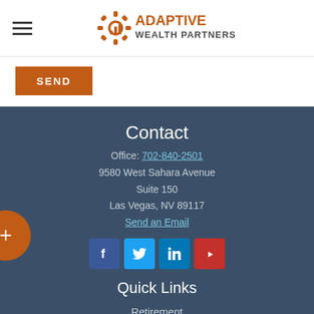Adaptive Wealth Partners
SEND
Contact
Office: 702-840-2501
9580 West Sahara Avenue
Suite 150
Las Vegas, NV 89117
Send an Email
[Figure (infographic): Social media icons: Facebook, Twitter, LinkedIn, YouTube]
Quick Links
Retirement
Investment
Estate
Insurance